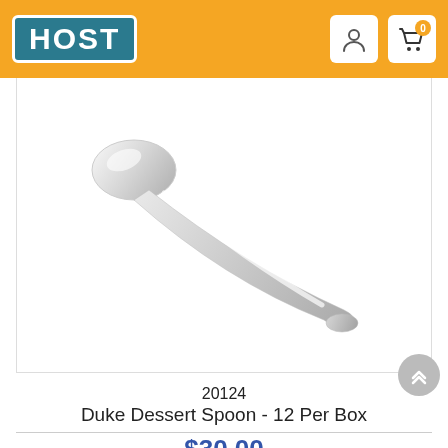HOST
[Figure (photo): A silver stainless steel dessert spoon photographed at a diagonal angle on a white background. The spoon has an oval bowl at the top-left and a tapered handle extending to the bottom-right.]
20124
Duke Dessert Spoon - 12 Per Box
$30.00
In Stock